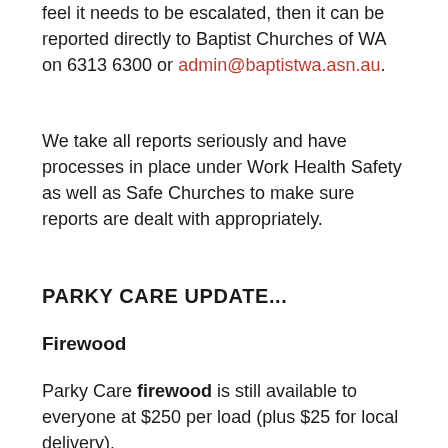feel it needs to be escalated, then it can be reported directly to Baptist Churches of WA on 6313 6300 or admin@baptistwa.asn.au.
We take all reports seriously and have processes in place under Work Health Safety as well as Safe Churches to make sure reports are dealt with appropriately.
PARKY CARE UPDATE...
Firewood
Parky Care firewood is still available to everyone at $250 per load (plus $25 for local delivery).